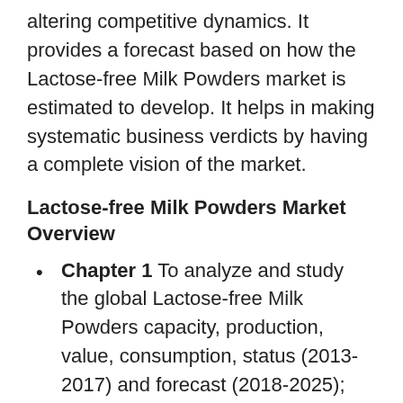altering competitive dynamics. It provides a forecast based on how the Lactose-free Milk Powders market is estimated to develop. It helps in making systematic business verdicts by having a complete vision of the market.
Lactose-free Milk Powders Market Overview
Chapter 1 To analyze and study the global Lactose-free Milk Powders capacity, production, value, consumption, status (2013-2017) and forecast (2018-2025);
Chapter 2 Focuses on the key Lactose-free Milk Powders manufacturers, to study the capacity, production, value, market share and development plans in future.